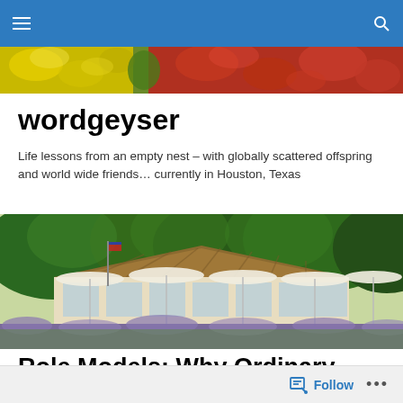wordgeyser – navigation bar
[Figure (photo): Colorful flowers banner — yellow, red, and mixed blooms across the top of the page]
wordgeyser
Life lessons from an empty nest – with globally scattered offspring and world wide friends… currently in Houston, Texas
[Figure (photo): Outdoor restaurant or club house with thatched roof, white patio umbrellas, surrounded by lush green trees and lavender flowers in the foreground, beside a body of water]
Role Models: Why Ordinary People are Mine
Follow  •••